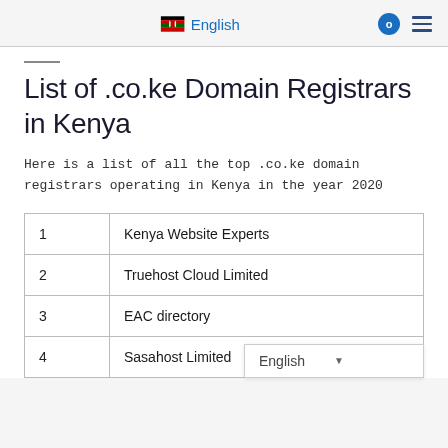English
List of .co.ke Domain Registrars in Kenya
Here is a list of all the top .co.ke domain registrars operating in Kenya in the year 2020
| 1 | Kenya Website Experts |
| 2 | Truehost Cloud Limited |
| 3 | EAC directory |
| 4 | Sasahost Limited |